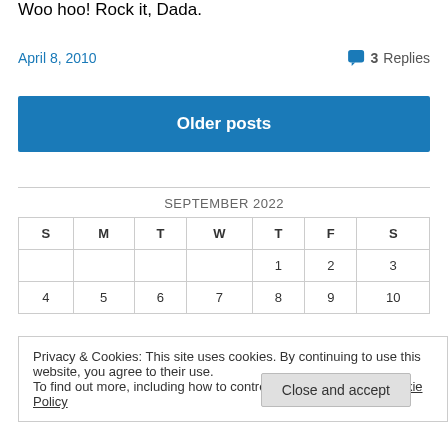Woo hoo! Rock it, Dada.
April 8, 2010   3 Replies
Older posts
| S | M | T | W | T | F | S |
| --- | --- | --- | --- | --- | --- | --- |
|  |  |  |  | 1 | 2 | 3 |
| 4 | 5 | 6 | 7 | 8 | 9 | 10 |
Privacy & Cookies: This site uses cookies. By continuing to use this website, you agree to their use.
To find out more, including how to control cookies, see here: Cookie Policy
Close and accept